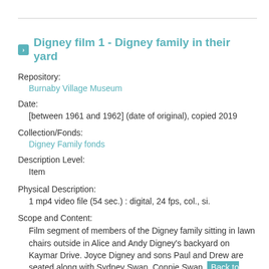Digney film 1 - Digney family in their yard
Repository:
Burnaby Village Museum
Date:
[between 1961 and 1962] (date of original), copied 2019
Collection/Fonds:
Digney Family fonds
Description Level:
Item
Physical Description:
1 mp4 video file (54 sec.) : digital, 24 fps, col., si.
Scope and Content:
Film segment of members of the Digney family sitting in lawn chairs outside in Alice and Andy Digney's backyard on Kaymar Drive. Joyce Digney and sons Paul and Drew are seated along with Sydney Swan, Connie Swan, and Andy Digney. There is a black dog which be...